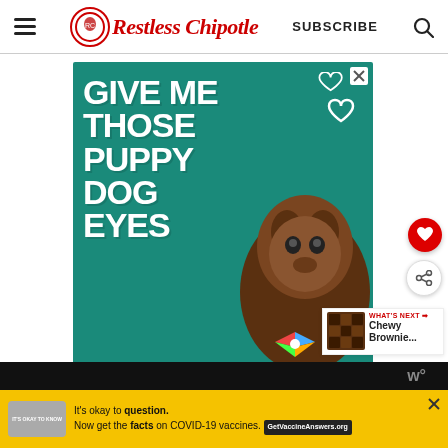Restless Chipotle - SUBSCRIBE
[Figure (illustration): Advertisement with teal background showing a dog with bow tie and text 'GIVE ME THOSE PUPPY DOG EYES' with heart graphics]
[Figure (logo): Sidebar heart/save button (red circle with heart icon)]
[Figure (other): Sidebar share button (white circle with share icon)]
WHAT'S NEXT → Chewy Brownie...
[Figure (other): Bottom yellow banner ad: It's okay to question. Now get the facts on COVID-19 vaccines. GetVaccineAnswers.org]